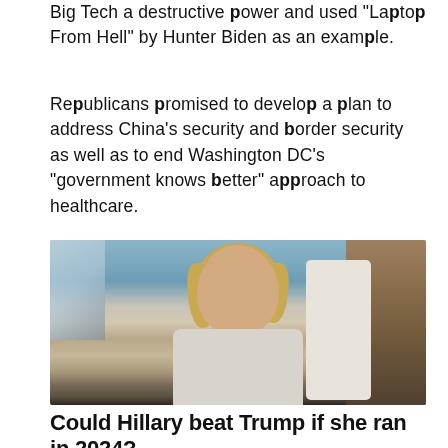Big Tech a destructive power and used "Laptop From Hell" by Hunter Biden as an example.
Republicans promised to develop a plan to address China's security and border security as well as to end Washington DC's “government knows better” approach to healthcare.
[Figure (photo): Photo of Hillary Clinton smiling, wearing a light-colored tweed jacket with dark collar/scarf, in an elegant room with blue walls and chandelier visible in background.]
Could Hillary beat Trump if she ran in 2024?